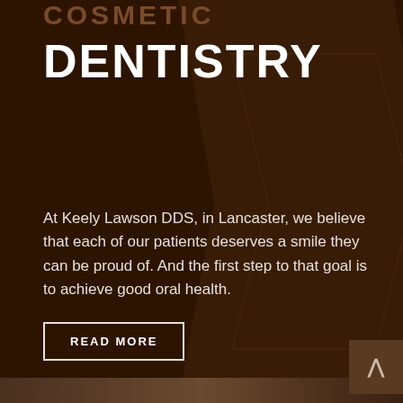COSMETIC
DENTISTRY
At Keely Lawson DDS, in Lancaster, we believe that each of our patients deserves a smile they can be proud of. And the first step to that goal is to achieve good oral health.
READ MORE